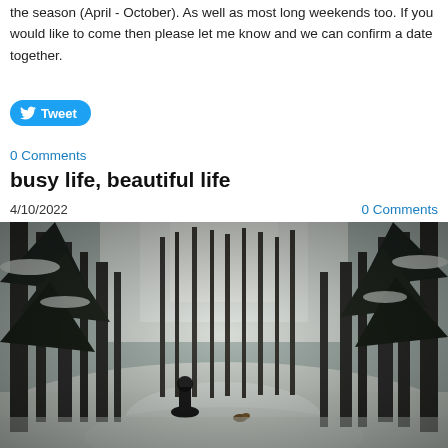the season (April - October).  As well as most long weekends too.  If you would like to come then please let me know and we can confirm a date together.
Tweet
0 Comments
busy life, beautiful life
4/10/2022
0 Comments
[Figure (photo): Person and dog walking on a snowy forest path surrounded by tall pine trees in winter]